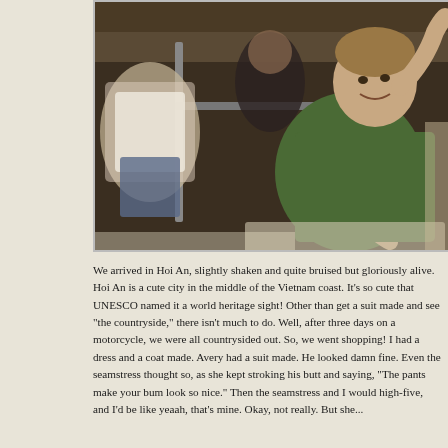[Figure (photo): Interior of a bus or sleeper vehicle with several young travelers reclining. A young man in a green t-shirt smiles at the camera with his hand behind his head, reclining comfortably. Other passengers are visible behind him.]
We arrived in Hoi An, slightly shaken and quite bruised but gloriously alive. Hoi An is a cute city in the middle of the Vietnam coast. It's so cute that UNESCO named it a world heritage sight! Other than get a suit made and see "the countryside," there isn't much to do. Well, after three days on a motorcycle, we were all countrysided out. So, we went shopping! I had a dress and a coat made. Avery had a suit made. He looked damn fine. Even the seamstress thought so, as she kept stroking his butt and saying, "The pants make your bum look so nice." Then the seamstress and I would high-five, and I'd be like yeaah, that's mine. Okay, not really. But she...